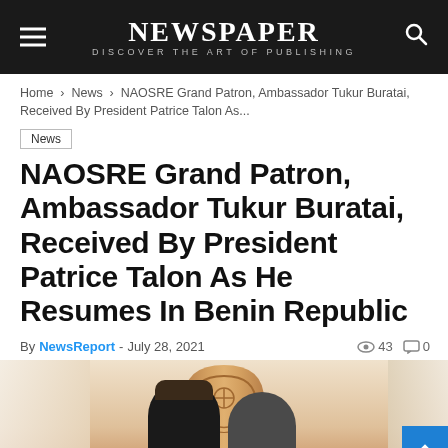NEWSPAPER — DISCOVER THE ART OF PUBLISHING
Home › News › NAOSRE Grand Patron, Ambassador Tukur Buratai, Received By President Patrice Talon As...
News
NAOSRE Grand Patron, Ambassador Tukur Buratai, Received By President Patrice Talon As He Resumes In Benin Republic
By NewsReport - July 28, 2021  👁 43  💬 0
[Figure (photo): Two men standing in front of a wooden arched door panel with ornamental carvings. The man on the left wears a traditional cap.]